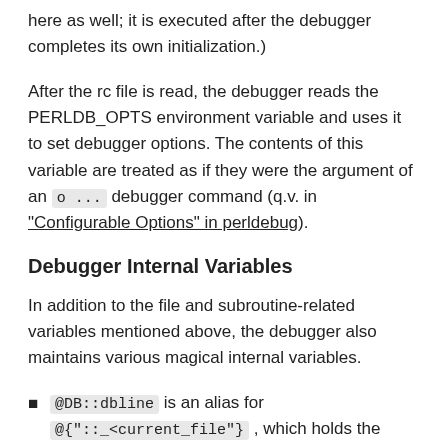here as well; it is executed after the debugger completes its own initialization.)
After the rc file is read, the debugger reads the PERLDB_OPTS environment variable and uses it to set debugger options. The contents of this variable are treated as if they were the argument of an o ... debugger command (q.v. in "Configurable Options" in perldebug).
Debugger Internal Variables
In addition to the file and subroutine-related variables mentioned above, the debugger also maintains various magical internal variables.
@DB::dbline is an alias for @{"::_<current_file"} , which holds the lines of the currently-selected file (compiled by Perl), either explicitly chosen with the debugger's f command, or implicitly by flow of execution. Values in this array are magical in numeric context: they compare equal to zero only if the